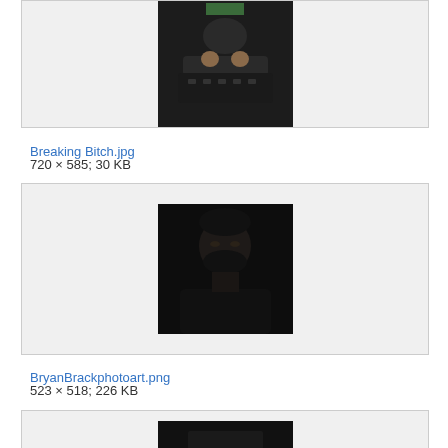[Figure (photo): Top portion of a photo showing a DJ operating equipment, wearing a green hat, dark environment]
Breaking Bitch.jpg
720 × 585; 30 KB
[Figure (photo): Portrait photo of a man with beard in dark clothing against a black background, moody low-key lighting]
BryanBrackphotoart.png
523 × 518; 226 KB
[Figure (photo): Bottom portion of another photo, partially visible]